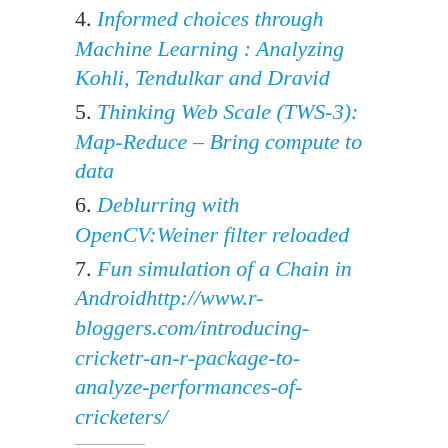4. Informed choices through Machine Learning : Analyzing Kohli, Tendulkar and Dravid
5. Thinking Web Scale (TWS-3): Map-Reduce – Bring compute to data
6. Deblurring with OpenCV:Weiner filter reloaded
7. Fun simulation of a Chain in Androidhttp://www.r-bloggers.com/introducing-cricketr-an-r-package-to-analyze-performances-of-cricketers/
Share:
Share 7 | Share | Pocket 20 | Tweet